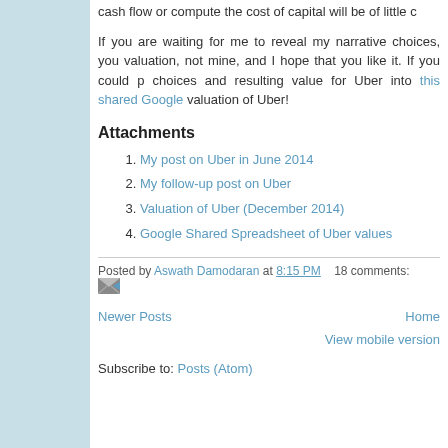cash flow or compute the cost of capital will be of little c...
If you are waiting for me to reveal my narrative choices, you... valuation, not mine, and I hope that you like it. If you could p... choices and resulting value for Uber into this shared Google... valuation of Uber!
Attachments
My post on Uber in June 2014
My follow-up post on Uber
Valuation of Uber (December 2014)
Google Shared Spreadsheet of Uber values
Posted by Aswath Damodaran at 8:15 PM    18 comments:
Newer Posts    Home    View mobile version
Subscribe to: Posts (Atom)